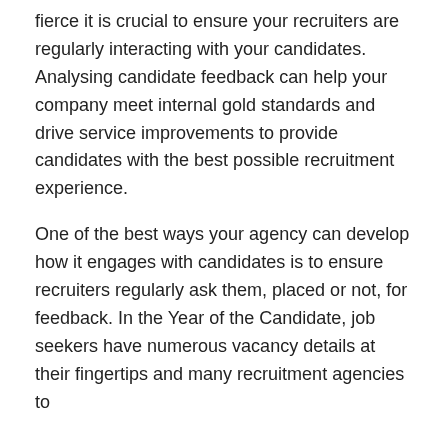fierce it is crucial to ensure your recruiters are regularly interacting with your candidates. Analysing candidate feedback can help your company meet internal gold standards and drive service improvements to provide candidates with the best possible recruitment experience.

One of the best ways your agency can develop how it engages with candidates is to ensure recruiters regularly ask them, placed or not, for feedback. In the Year of the Candidate, job seekers have numerous vacancy details at their fingertips and many recruitment agencies to